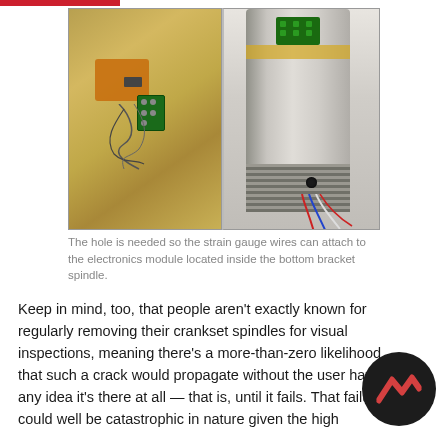[Figure (photo): Two photographs side by side: left shows a metal spindle with an orange/copper patch and green electronics module with wires attached; right shows a cylindrical metal bottom bracket spindle with a green chip at top, threaded section at bottom, and colorful wires (red, blue, white) emerging from a hole.]
The hole is needed so the strain gauge wires can attach to the electronics module located inside the bottom bracket spindle.
Keep in mind, too, that people aren't exactly known for regularly removing their crankset spindles for visual inspections, meaning there's a more-than-zero likelihood that such a crack would propagate without the user having any idea it's there at all — that is, until it fails. That failure could well be catastrophic in nature given the high